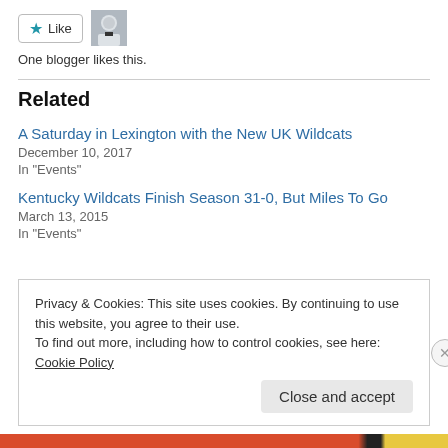[Figure (other): Like button with star icon and blogger avatar photo]
One blogger likes this.
Related
A Saturday in Lexington with the New UK Wildcats
December 10, 2017
In "Events"
Kentucky Wildcats Finish Season 31-0, But Miles To Go
March 13, 2015
In "Events"
Privacy & Cookies: This site uses cookies. By continuing to use this website, you agree to their use.
To find out more, including how to control cookies, see here: Cookie Policy